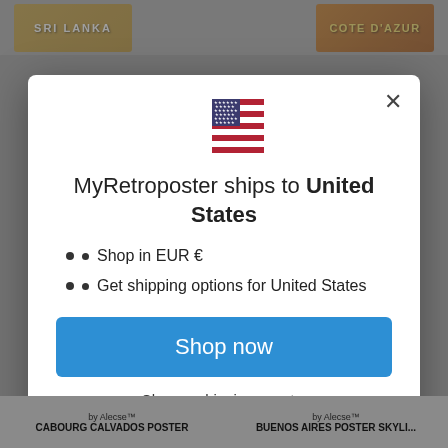[Figure (screenshot): Background of a travel poster website showing Sri Lanka and Cote d'Azur poster thumbnails, overlaid with a modal dialog]
MyRetroposter ships to United States
Shop in EUR €
Get shipping options for United States
Shop now
Change shipping country
by Alecse™
CABOURG CALVADOS POSTER
by Alecse™
BUENOS AIRES POSTER SKYLI...